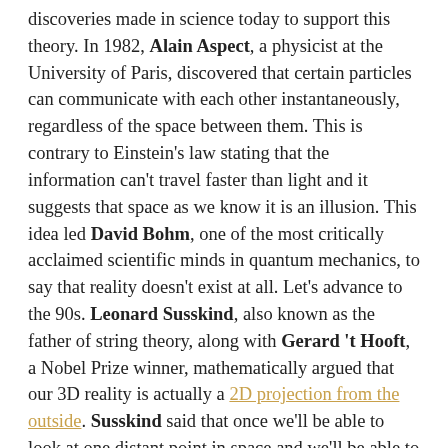discoveries made in science today to support this theory. In 1982, Alain Aspect, a physicist at the University of Paris, discovered that certain particles can communicate with each other instantaneously, regardless of the space between them. This is contrary to Einstein's law stating that the information can't travel faster than light and it suggests that space as we know it is an illusion. This idea led David Bohm, one of the most critically acclaimed scientific minds in quantum mechanics, to say that reality doesn't exist at all. Let's advance to the 90s. Leonard Susskind, also known as the father of string theory, along with Gerard 't Hooft, a Nobel Prize winner, mathematically argued that our 3D reality is actually a 2D projection from the outside. Susskind said that once we'll be able to look at one distant point in space and we'll be able to see some sort of holographic noise (haze or humm), we should have the ultimate evidence that we are living in a holographic reality. In January 2009, the GEO600 – the world's most sensitive gravitational detector,